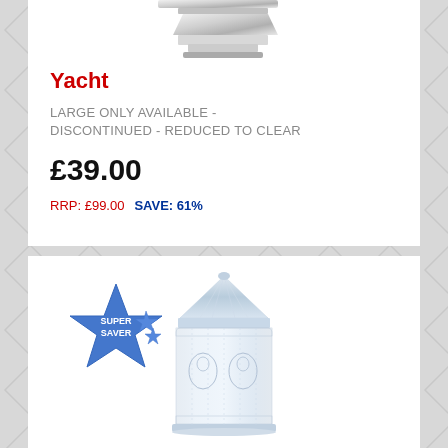[Figure (photo): Partial view of a silver/chrome metallic product (yacht) at top of page]
Yacht
LARGE ONLY AVAILABLE - DISCONTINUED - REDUCED TO CLEAR
£39.00
RRP: £99.00  SAVE: 61%
[Figure (photo): Silver crystal carousel/merry-go-round lidded jar with horse motifs and faceted conical lid, with a blue star 'SUPER SAVER' badge overlay]